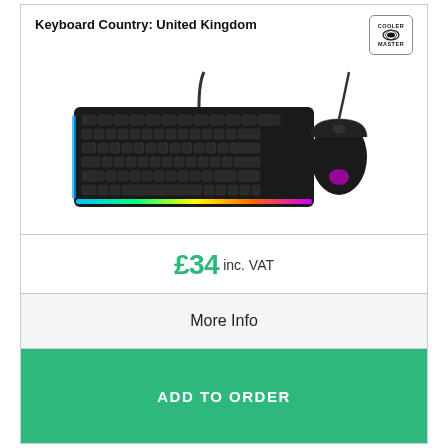Keyboard Country: United Kingdom
[Figure (photo): Cooler Master RGB gaming keyboard and mouse combo on white background]
£34 inc. VAT
More Info
ADD TO ORDER